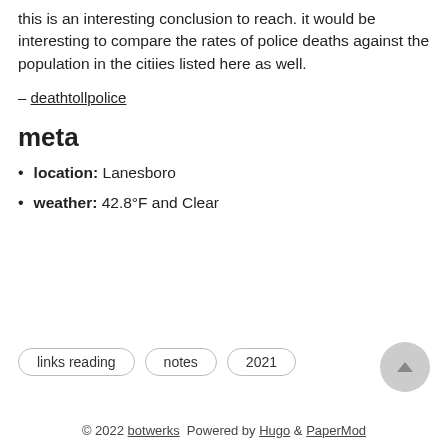this is an interesting conclusion to reach. it would be interesting to compare the rates of police deaths against the population in the citiies listed here as well.
– deathtollpolice
meta
location: Lanesboro
weather: 42.8°F and Clear
links reading   notes   2021
© 2022 botwerks  Powered by Hugo & PaperMod